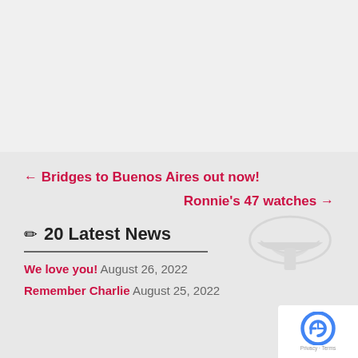← Bridges to Buenos Aires out now!
Ronnie's 47 watches →
✏ 20 Latest News
We love you! August 26, 2022
Remember Charlie August 25, 2022